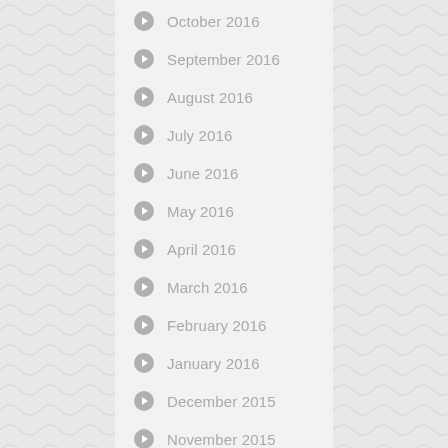October 2016
September 2016
August 2016
July 2016
June 2016
May 2016
April 2016
March 2016
February 2016
January 2016
December 2015
November 2015
October 2015
September 2015
August 2015